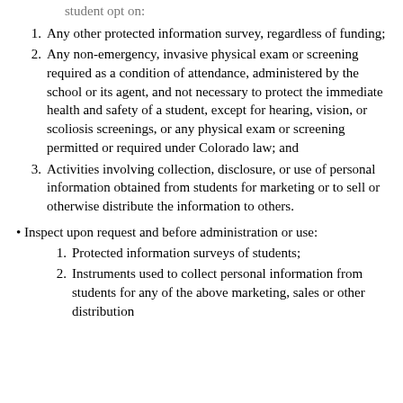student opt on:
1. Any other protected information survey, regardless of funding;
2. Any non-emergency, invasive physical exam or screening required as a condition of attendance, administered by the school or its agent, and not necessary to protect the immediate health and safety of a student, except for hearing, vision, or scoliosis screenings, or any physical exam or screening permitted or required under Colorado law; and
3. Activities involving collection, disclosure, or use of personal information obtained from students for marketing or to sell or otherwise distribute the information to others.
Inspect upon request and before administration or use:
1. Protected information surveys of students;
2. Instruments used to collect personal information from students for any of the above marketing, sales or other distribution